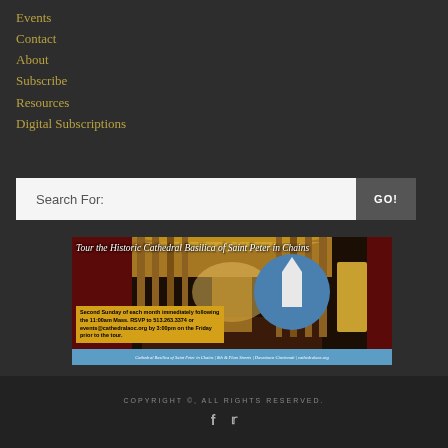Events
Contact
About
Subscribe
Resources
Digital Subscriptions
Search For:
[Figure (photo): Banner advertisement for the Cathedral Basilica of Saint Peter in Chains. Shows interior of cathedral with golden arched ceiling and columns. Title text reads 'Tour the Historic Cathedral Basilica of Saint Peter in Chains'. Yellow box with text: 'Second Sunday of each month immediately following the 11:00am Mass. RSVP to 513.263.3374 or events@cathedralaoc.org by 3:00pm on the Friday prior to the tour.' Blue strip at bottom reads: 'Cathedral Basilica of Saint Peter in Chains | 8th & Plum Streets | Downtown Cincinnati | cathedralaoc.org']
COPYRIGHT ©, ALL RIGHTS RESERVED.